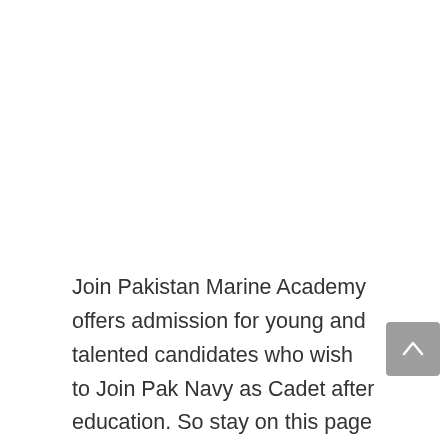Join Pakistan Marine Academy offers admission for young and talented candidates who wish to Join Pak Navy as Cadet after education. So stay on this page